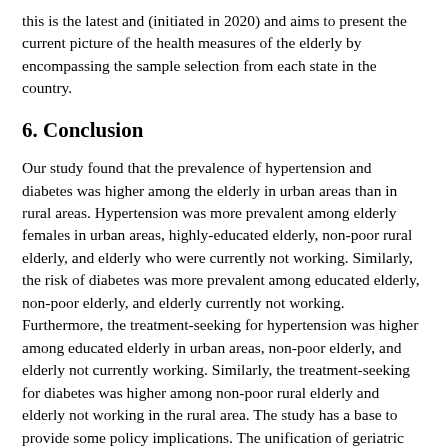this is the latest and (initiated in 2020) and aims to present the current picture of the health measures of the elderly by encompassing the sample selection from each state in the country.
6. Conclusion
Our study found that the prevalence of hypertension and diabetes was higher among the elderly in urban areas than in rural areas. Hypertension was more prevalent among elderly females in urban areas, highly-educated elderly, non-poor rural elderly, and elderly who were currently not working. Similarly, the risk of diabetes was more prevalent among educated elderly, non-poor elderly, and elderly currently not working. Furthermore, the treatment-seeking for hypertension was higher among educated elderly in urban areas, non-poor elderly, and elderly not currently working. Similarly, the treatment-seeking for diabetes was higher among non-poor rural elderly and elderly not working in the rural area. The study has a base to provide some policy implications. The unification of geriatric healthcare with the general healthcare system at the primary healthcare level can be a decisive stride in ameliorating the overall health status of older people. The policy-makers should propitious their efforts to address the vulnerability of women in rural as well as in urban areas while designing hypertension prevention and control programs. Since treatment-seeking is relatively low among elderly in poor households,